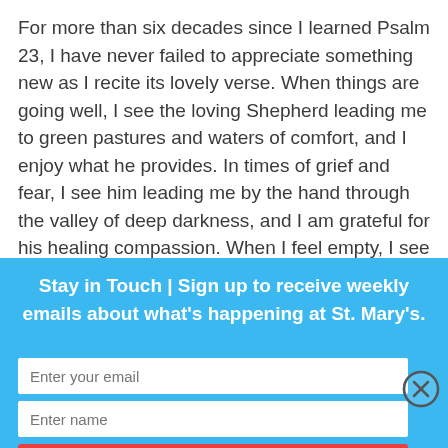For more than six decades since I learned Psalm 23, I have never failed to appreciate something new as I recite its lovely verse. When things are going well, I see the loving Shepherd leading me to green pastures and waters of comfort, and I enjoy what he provides. In times of grief and fear, I see him leading me by the hand through the valley of deep darkness, and I am grateful for his healing compassion. When I feel empty, I see him setting a table for me even in the presence of those who trouble me. He fills my cup to overflowing and anoints my head with oil, and for he me to new…
Stay in Touch | Sign up to receive weekly emails about what's happening at St. Mary's.
Enter your email
Enter name
Subscribe